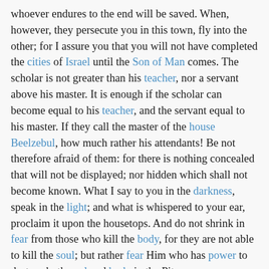whoever endures to the end will be saved. When, however, they persecute you in this town, fly into the other; for I assure you that you will not have completed the cities of Israel until the Son of Man comes. The scholar is not greater than his teacher, nor a servant above his master. It is enough if the scholar can become equal to his teacher, and the servant equal to his master. If they call the master of the house Beelzebul, how much rather his attendants! Be not therefore afraid of them: for there is nothing concealed that will not be displayed; nor hidden which shall not become known. What I say to you in the darkness, speak in the light; and what is whispered to your ear, proclaim it upon the housetops. And do not shrink in fear from those who kill the body, for they are not able to kill the soul; but rather fear Him who has power to destroy both soul and body in the Pit.
"Are not two sparrows sold for a farthing? and not one of them has fallen to the ground without your Father! And even the hairs of your head are all numbered. Fear not, therefore! you are worth many sparrows. Consequently, whoever declares for Me